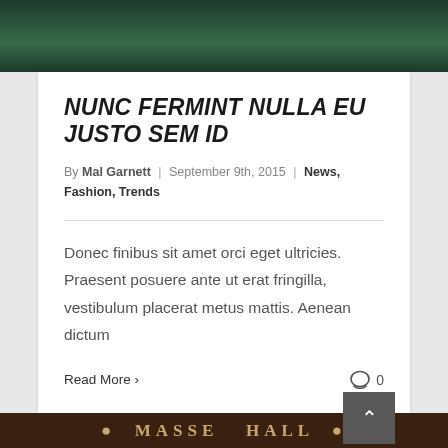[Figure (photo): Top portion of a photo showing a person with blonde hair wearing blue, outdoors with dark green foliage background]
NUNC FERMINT NULLA EU JUSTO SEM ID
By Mal Garnett | September 9th, 2015 | News, Fashion, Trends
Donec finibus sit amet orci eget ultricies. Praesent posuere ante ut erat fringilla, vestibulum placerat metus mattis. Aenean dictum
Read More > 0
[Figure (photo): Bottom portion showing a sign reading MASSEY HALL with decorative circular emblems on either side, dark wooden background]